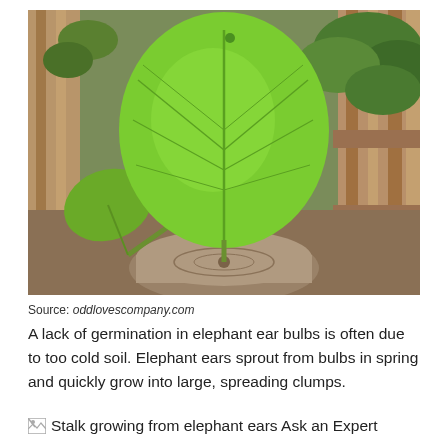[Figure (photo): Large bright green heart-shaped elephant ear leaf resting on a wooden surface, with wooden fence slats and green foliage visible in the background.]
Source: oddlovescompany.com
A lack of germination in elephant ear bulbs is often due to too cold soil. Elephant ears sprout from bulbs in spring and quickly grow into large, spreading clumps.
Stalk growing from elephant ears Ask an Expert